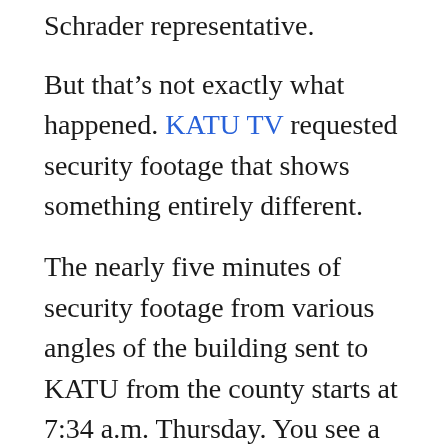Schrader representative.
But that's not exactly what happened. KATU TV requested security footage that shows something entirely different.
The nearly five minutes of security footage from various angles of the building sent to KATU from the county starts at 7:34 a.m. Thursday. You see a senior elections specialist, Tiffany Clark, walking into the office. She talks briefly with Schrader's observer, who was outside.